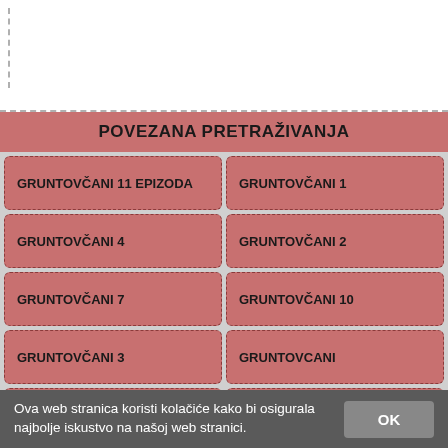[Figure (screenshot): Top white area with dashed border on left and bottom, representing a screenshot/browser top section.]
POVEZANA PRETRAŽIVANJA
GRUNTOVČANI 11 EPIZODA
GRUNTOVČANI 1
GRUNTOVČANI 4
GRUNTOVČANI 2
GRUNTOVČANI 7
GRUNTOVČANI 10
GRUNTOVČANI 3
GRUNTOVCANI
GRUNTOVČANI 5
GRUNTOVČANI CITATI
GRUNTOVČANI ONLINE
GRUNTOVČANI GLUMCI
Ova web stranica koristi kolačiće kako bi osigurala najbolje iskustvo na našoj web stranici.